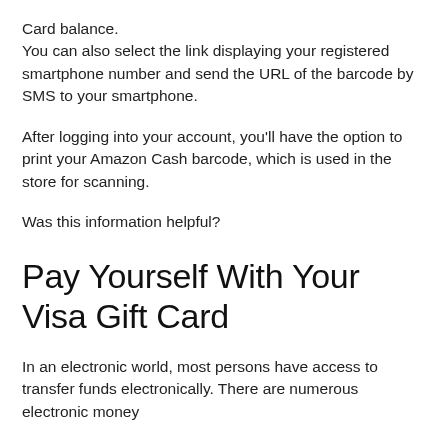Card balance.
You can also select the link displaying your registered smartphone number and send the URL of the barcode by SMS to your smartphone.
After logging into your account, you'll have the option to print your Amazon Cash barcode, which is used in the store for scanning.
Was this information helpful?
Pay Yourself With Your Visa Gift Card
In an electronic world, most persons have access to transfer funds electronically. There are numerous electronic money